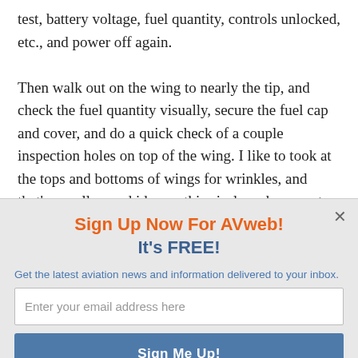test, battery voltage, fuel quantity, controls unlocked, etc., and power off again.

Then walk out on the wing to nearly the tip, and check the fuel quantity visually, secure the fuel cap and cover, and do a quick check of a couple inspection holes on top of the wing. I like to took at the tops and bottoms of wings for wrinkles, and that's a really good idea on this airplane, because to my shocked surprise, it is NOT a high G airplane, being limited to
Sign Up Now For AVweb! It's FREE!
Get the latest aviation news and information delivered to your inbox.
Enter your email address here
Sign Me Up!